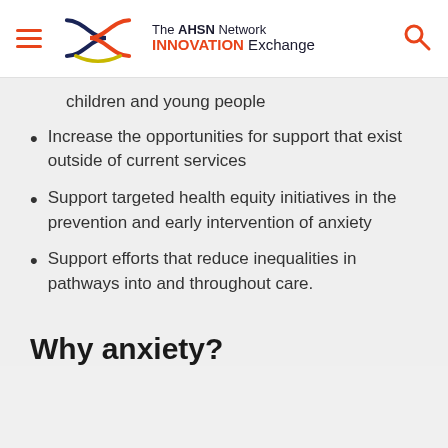[Figure (logo): The AHSN Network INNOVATION Exchange logo with navigation hamburger menu and search icon]
children and young people
Increase the opportunities for support that exist outside of current services
Support targeted health equity initiatives in the prevention and early intervention of anxiety
Support efforts that reduce inequalities in pathways into and throughout care.
Why anxiety?